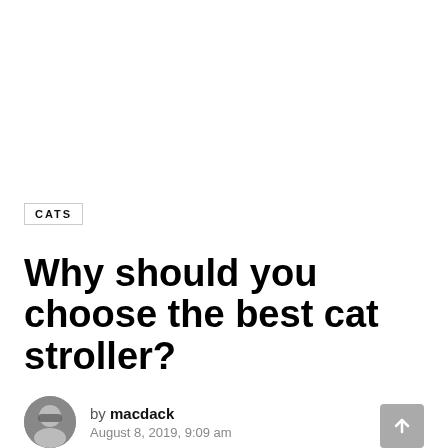CATS
Why should you choose the best cat stroller?
by macdack
August 8, 2019, 9:09 am